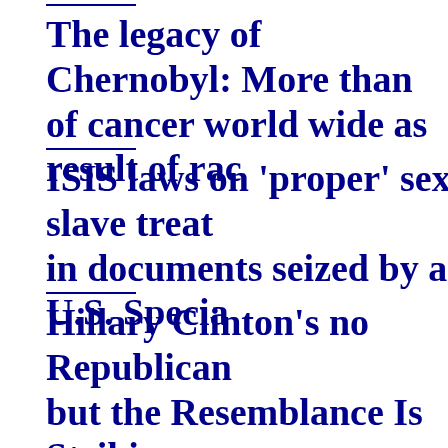The legacy of Chernobyl: More than of cancer world wide as result of ra
ISIS laws on 'proper' sex slave treat in documents seized by a U.S. Specia
Hillary Clinton's no Republican but the Resemblance Is Striking
Clinton is a lot closer to Richard Nixon tha but she's really a Cold War liberal left beh